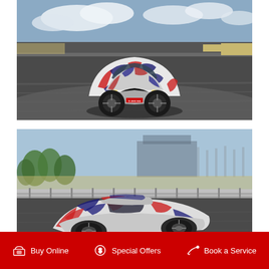[Figure (photo): A camouflage-wrapped sports car (Toyota Supra prototype) driving on a racing circuit track, front three-quarter view, with blurred asphalt and a cloudy sky background.]
[Figure (photo): A camouflage-wrapped sports car (Toyota Supra prototype) on a racing circuit, side/rear view, with armco barriers, trees, and grandstand visible in the soft-focus background.]
Buy Online   Special Offers   Book a Service